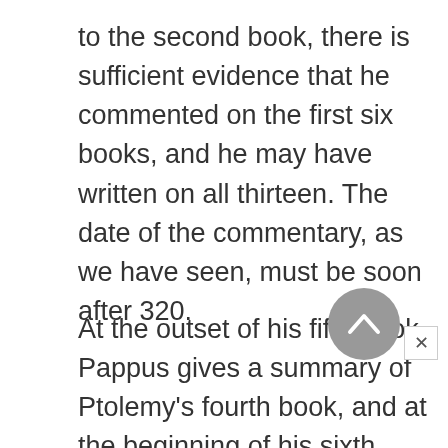to the second book, there is sufficient evidence that he commented on the first six books, and he may have written on all thirteen. The date of the commentary, as we have seen, must be soon after 320.
At the outset of his fifth book Pappus gives a summary of Ptolemy's fourth book, and at the beginning of his sixth book he summarizes Ptolemy's fifth book, which suggests that his commentary was a course of lectures.